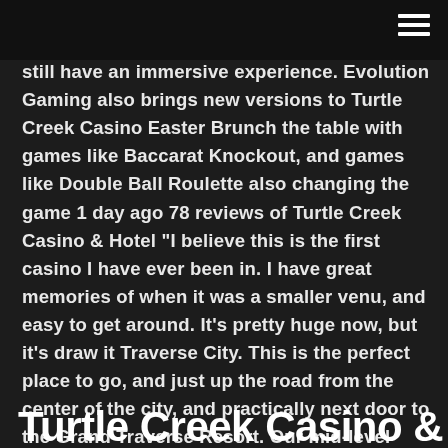still have an immersive experience. Evolution Gaming also brings new versions to Turtle Creek Casino Easter Brunch the table with games like Baccarat Knockout, and games like Double Ball Roulette also changing the game 1 day ago 78 reviews of Turtle Creek Casino & Hotel "I believe this is the first casino I have ever been in. I have great memories of when it was a smaller venu, and easy to get around. It's pretty huge now, but it's draw it Traverse City. This is the perfect place to go, and just up the road from the center of the city, and practically next door to the Grand Traverse Resort. Our mid-level lounge area at Turtle Creek Casino & Hotel provides a perfect view of the gaming floor while you relax and enjoy a drink between bets. Ready to
Turtle Creek Casino & Hotel